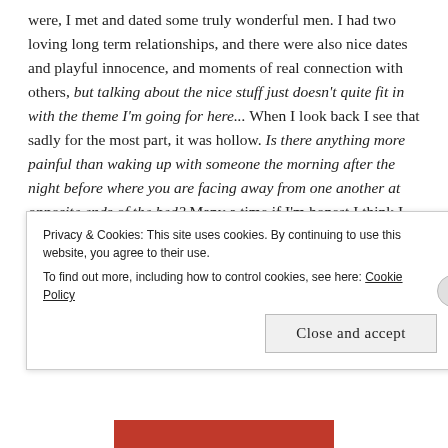were, I met and dated some truly wonderful men. I had two loving long term relationships, and there were also nice dates and playful innocence, and moments of real connection with others, but talking about the nice stuff just doesn't quite fit in with the theme I'm going for here... When I look back I see that sadly for the most part, it was hollow. Is there anything more painful than waking up with someone the morning after the night before where you are facing away from one another at opposite ends of the bed? Many a time if I'm honest I think I just didn't want to go home to an empty bed to have to ride out the
Privacy & Cookies: This site uses cookies. By continuing to use this website, you agree to their use.
To find out more, including how to control cookies, see here: Cookie Policy
Close and accept